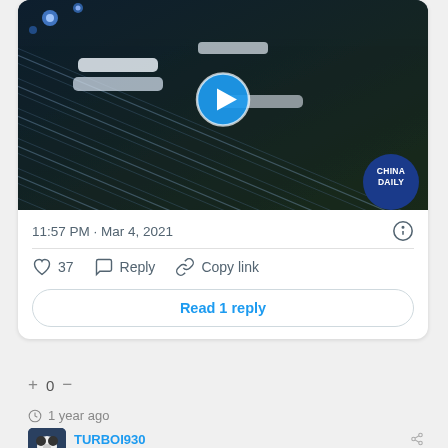[Figure (screenshot): Video thumbnail showing aerial night view of high-speed trains at a rail yard with light trails. China Daily logo badge in bottom right corner. Blue play button in center.]
11:57 PM · Mar 4, 2021
♡ 37   Reply   Copy link
Read 1 reply
+ 0 −
1 year ago
TURBOI930